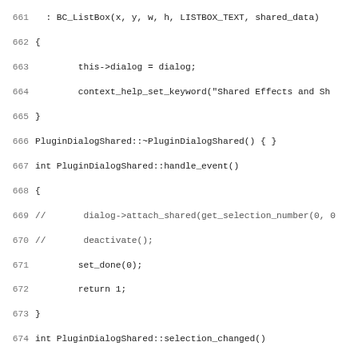[Figure (screenshot): Source code listing in monospace font showing C++ code for PluginDialogShared class methods, lines 661-692+]